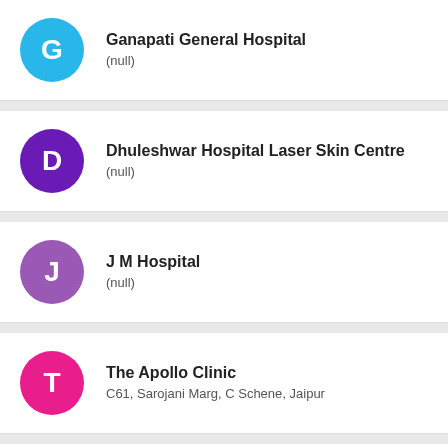Ganapati General Hospital
(null)
Dhuleshwar Hospital Laser Skin Centre
(null)
J M Hospital
(null)
The Apollo Clinic
C61, Sarojani Marg, C Schene, Jaipur
Sms Hospital
Jln Marg, Sms Highway, Jln Marg, Jaipur
Dhuleshwar Hospital Laser Skin Centre (partial)